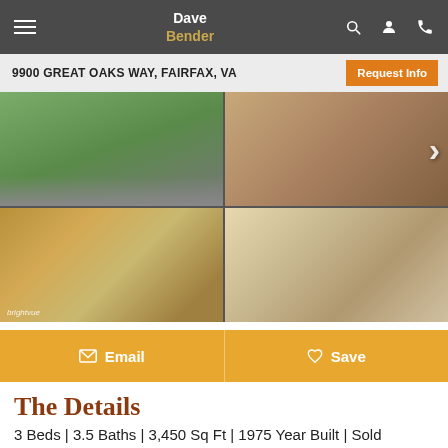Dave Bender
9900 GREAT OAKS WAY, FAIRFAX, VA
[Figure (photo): Four-panel photo grid showing exterior aerial view, bedroom/hardwood floors, kitchen with stainless appliances and wood cabinets, and living room with fireplace and hardwood floors.]
Email   Save
The Details
3 Beds | 3.5 Baths | 3,450 Sq Ft | 1975 Year Built | Sold
This is it! A meticulously maintained move-in ready home